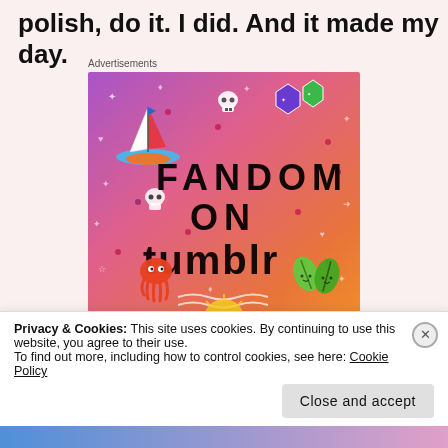polish, do it. I did. And it made my day.
Advertisements
[Figure (illustration): Fandom on Tumblr promotional image with colorful gradient background (purple, orange, pink) and doodle illustrations including a sailboat, skull, octopus, leaves, dice, music notes, hearts, and arrows. Large bold text reads FANDOM ON tumblr.]
Privacy & Cookies: This site uses cookies. By continuing to use this website, you agree to their use.
To find out more, including how to control cookies, see here: Cookie Policy
Close and accept